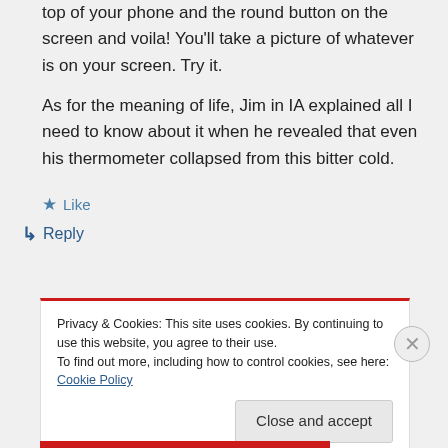top of your phone and the round button on the screen and voila! You'll take a picture of whatever is on your screen. Try it.
As for the meaning of life, Jim in IA explained all I need to know about it when he revealed that even his thermometer collapsed from this bitter cold.
★ Like
↳ Reply
Privacy & Cookies: This site uses cookies. By continuing to use this website, you agree to their use.
To find out more, including how to control cookies, see here: Cookie Policy